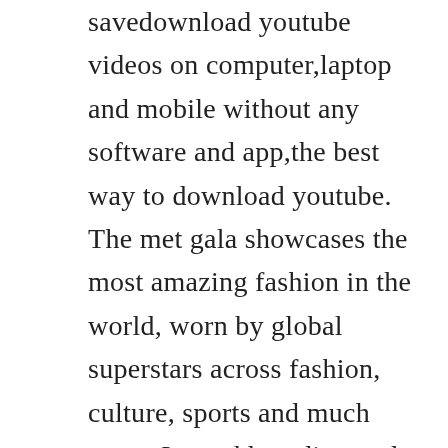savedownload youtube videos on computer,laptop and mobile without any software and app,the best way to download youtube. The met gala showcases the most amazing fashion in the world, worn by global superstars across fashion, culture, sports and much more. Ivan ukhov diamond league mens high jump bislett games 2011 duration. Karate female team kata bronze medal serbia vs italy wkf world championships belgrade 2010 12 duration. Site icon is website by jngll from the noun project of course. Youtube is the most popular video hosting resource and the second